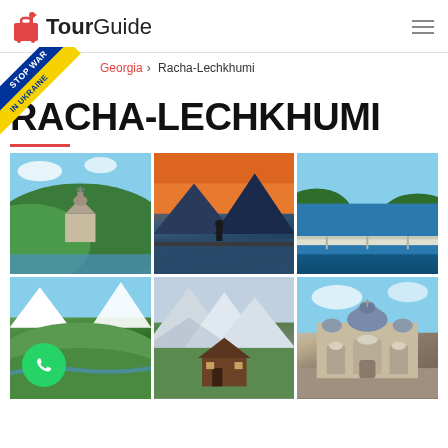TourGuide
Georgia > Racha-Lechkhumi
RACHA-LECHKHUMI
[Figure (photo): Six-photo collage of Racha-Lechkhumi region: Georgian church by river, person on infinity pool with mountains, aerial view of lake with bridge, green mountain valley, snowy mountain peaks with cabin, ornate church building]
[Figure (other): Stop War in Ukraine diagonal banner overlay in blue and yellow]